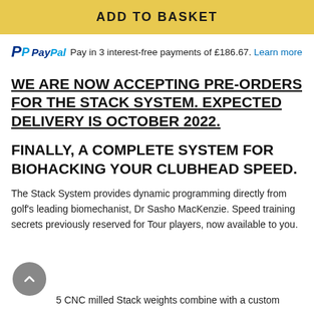[Figure (screenshot): ADD TO BASKET button — golden/yellow background with bold uppercase text]
PayPal Pay in 3 interest-free payments of £186.67. Learn more
WE ARE NOW ACCEPTING PRE-ORDERS FOR THE STACK SYSTEM. EXPECTED DELIVERY IS OCTOBER 2022.
FINALLY, A COMPLETE SYSTEM FOR BIOHACKING YOUR CLUBHEAD SPEED.
The Stack System provides dynamic programming directly from golf's leading biomechanist, Dr Sasho MacKenzie. Speed training secrets previously reserved for Tour players, now available to you.
5 CNC milled Stack weights combine with a custom